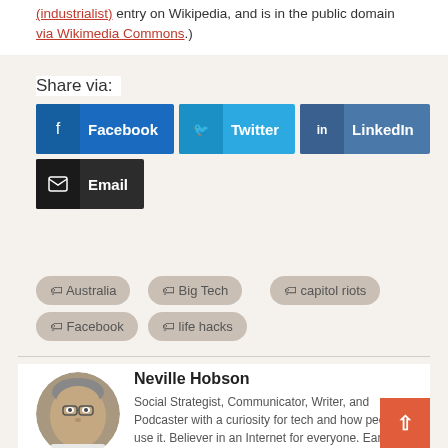(industrialist) entry on Wikipedia, and is in the public domain via Wikimedia Commons.)
Share via:
[Figure (infographic): Social share buttons for Facebook, Twitter, LinkedIn, and Email]
Australia
Big Tech
capitol riots
Facebook
life hacks
[Figure (photo): Circular portrait photo of Neville Hobson, a man with glasses]
Neville Hobson
Social Strategist, Communicator, Writer, and Podcaster with a curiosity for tech and how people use it. Believer in an Internet for everyone. Early adopter (and leaver) and experimenter with social media. Occasional test